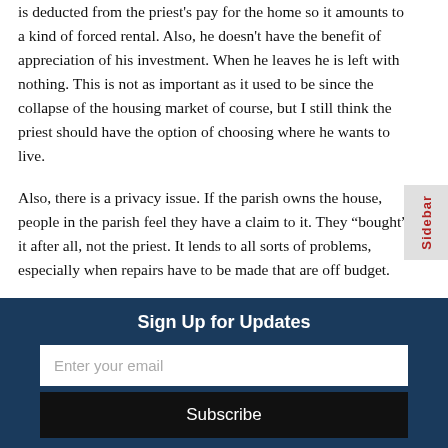is deducted from the priest's pay for the home so it amounts to a kind of forced rental. Also, he doesn't have the benefit of appreciation of his investment. When he leaves he is left with nothing. This is not as important as it used to be since the collapse of the housing market of course, but I still think the priest should have the option of choosing where he wants to live.
Also, there is a privacy issue. If the parish owns the house, people in the parish feel they have a claim to it. They “bought” it after all, not the priest. It lends to all sorts of problems, especially when repairs have to be made that are off budget.
Sign Up for Updates
Enter your email
Subscribe